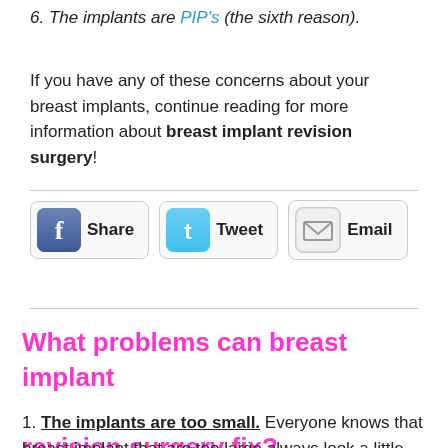6. The implants are PIP's (the sixth reason).
If you have any of these concerns about your breast implants, continue reading for more information about breast implant revision surgery!
[Figure (other): Social sharing buttons: Facebook Share, Twitter Tweet, Email]
What problems can breast implant revision surgery fix?
1. The implants are too small. Everyone knows that breast implant that are too large always look a little